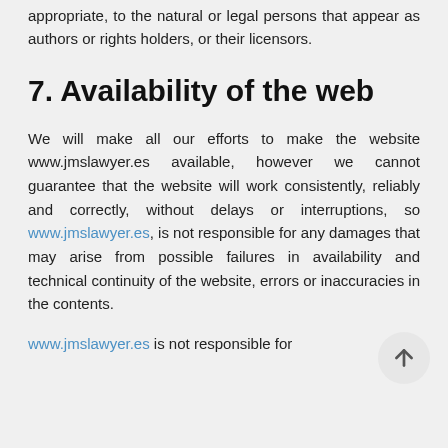appropriate, to the natural or legal persons that appear as authors or rights holders, or their licensors.
7. Availability of the web
We will make all our efforts to make the website www.jmslawyer.es available, however we cannot guarantee that the website will work consistently, reliably and correctly, without delays or interruptions, so www.jmslawyer.es, is not responsible for any damages that may arise from possible failures in availability and technical continuity of the website, errors or inaccuracies in the contents.
www.jmslawyer.es is not responsible for